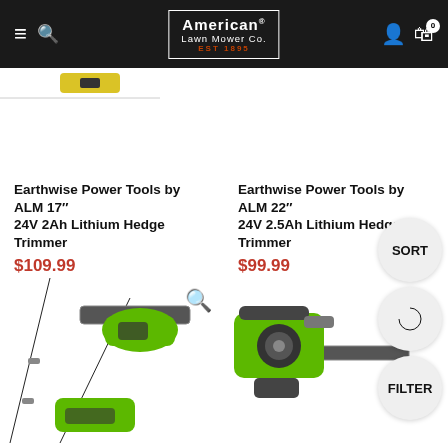American Lawn Mower Co. EST 1895
Earthwise Power Tools by ALM 17" 24V 2Ah Lithium Hedge Trimmer
$109.99
Earthwise Power Tools by ALM 22" 24V 2.5Ah Lithium Hedge Trimmer
$99.99
[Figure (photo): Green electric pole saw / pole pruner product image]
[Figure (photo): Green electric chainsaw product image]